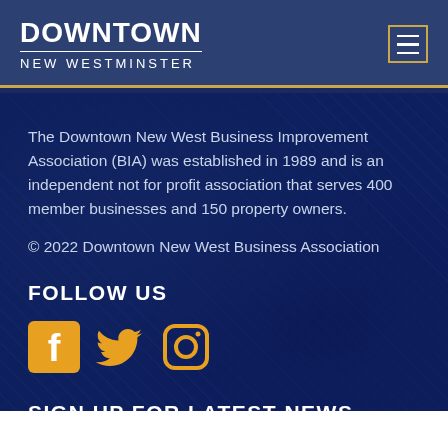DOWNTOWN NEW WESTMINSTER
The Downtown New West Business Improvement Association (BIA) was established in 1989 and is an independent not for profit association that serves 400 member businesses and 150 property owners.
© 2022 Downtown New West Business Association
FOLLOW US
[Figure (illustration): Three social media icons: Facebook (orange square with 'f'), Twitter (orange bird), Instagram (orange camera outline)]
SIGN UP FOR LATEST NEWS